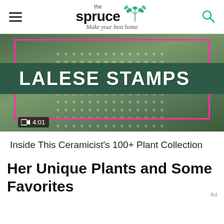the spruce — Make your best home
[Figure (screenshot): Video thumbnail for Lalese Stamps, showing a person in a polka dot dress in front of plants. Dark green banner reads 'LALESE STAMPS' in white text. Pink rectangular border overlay. Video duration 4:01 shown in bottom left corner.]
Inside This Ceramicist's 100+ Plant Collection
Her Unique Plants and Some Favorites